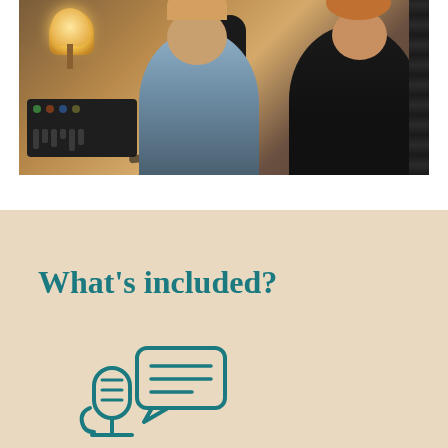[Figure (photo): Photo of two people in a podcast recording studio with microphones, mixing board, and studio equipment. Warm lighting from a lamp on the left.]
What's included?
[Figure (illustration): Teal/turquoise icon of a microphone with a speech bubble containing horizontal lines, representing a podcast or audio recording.]